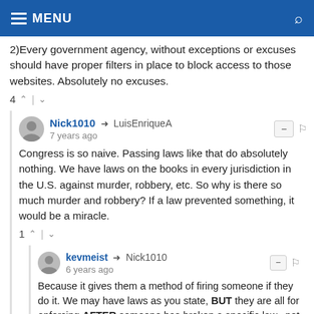MENU
2)Every government agency, without exceptions or excuses should have proper filters in place to block access to those websites. Absolutely no excuses.
4 ^ | v
Nick1010 → LuisEnriqueA
7 years ago
Congress is so naive. Passing laws like that do absolutely nothing. We have laws on the books in every jurisdiction in the U.S. against murder, robbery, etc. So why is there so much murder and robbery? If a law prevented something, it would be a miracle.
1 ^ | v
kevmeist → Nick1010
6 years ago
Because it gives them a method of firing someone if they do it. We may have laws as you state, BUT they are all for enforcing AFTER someone has broken a specific law...not to somehow magically prevent them from breaking the law in the first place...